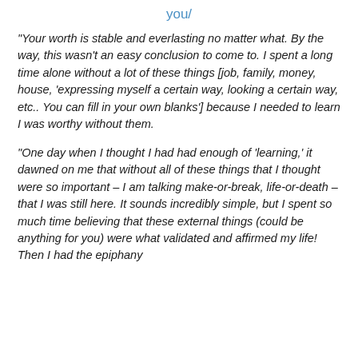you/
“Your worth is stable and everlasting no matter what.  By the way, this wasn’t an easy conclusion to come to.  I spent a long time alone without a lot of these things [job, family, money, house, ‘expressing myself a certain way, looking a certain way, etc..  You can fill in your own blanks’] because I needed to learn I was worthy without them.
“One day when I thought I had had enough of ‘learning,’ it dawned on me that without all of these things that I thought were so important – I am talking make-or-break, life-or-death – that I was still here.  It sounds incredibly simple, but I spent so much time believing that these external things (could be anything for you) were what validated and affirmed my life!  Then I had the epiphany